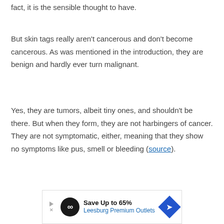fact, it is the sensible thought to have.
But skin tags really aren't cancerous and don't become cancerous. As was mentioned in the introduction, they are benign and hardly ever turn malignant.
Yes, they are tumors, albeit tiny ones, and shouldn't be there. But when they form, they are not harbingers of cancer. They are not symptomatic, either, meaning that they show no symptoms like pus, smell or bleeding (source).
[Figure (other): Advertisement banner: Save Up to 65% Leesburg Premium Outlets with a black circle infinity logo and blue diamond arrow icon]